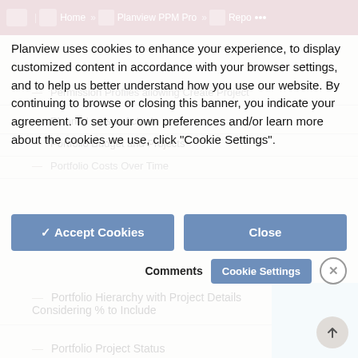[Figure (screenshot): A screenshot of a Planview PPM Pro web application page showing a navigation bar with breadcrumb (Home » Planview PPM Pro » Repo...), a list of portfolio report items (Permission Profiles allowing Create Project, Planned versus Actuals, Portfolio Budget and Projects, Portfolio Costs Over Time, Portfolio Hierarchy with Project Details Considering % to Include, Portfolio Project Status, Portfolio Roadmap, Projects by Category with Priority Stacks, Projects by Priority and Status, Project % Complete), and a cookie consent banner overlay with Accept Cookies, Close, Comments, Cookie Settings buttons and an X dismiss button.]
Planview uses cookies to enhance your experience, to display customized content in accordance with your browser settings, and to help us better understand how you use our website. By continuing to browse or closing this banner, you indicate your agreement. To set your own preferences and/or learn more about the cookies we use, click "Cookie Settings".